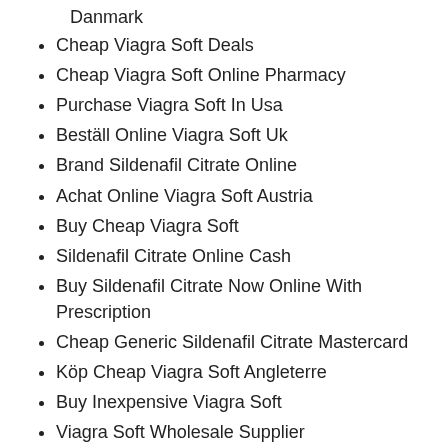Where To Purchase Online Viagra Soft Danmark
Cheap Viagra Soft Deals
Cheap Viagra Soft Online Pharmacy
Purchase Viagra Soft In Usa
Beställ Online Viagra Soft Uk
Brand Sildenafil Citrate Online
Achat Online Viagra Soft Austria
Buy Cheap Viagra Soft
Sildenafil Citrate Online Cash
Buy Sildenafil Citrate Now Online With Prescription
Cheap Generic Sildenafil Citrate Mastercard
Köp Cheap Viagra Soft Angleterre
Buy Inexpensive Viagra Soft
Viagra Soft Wholesale Supplier
Viagra Soft Cheap Buy
Order Sildenafil Citrate Online Usa